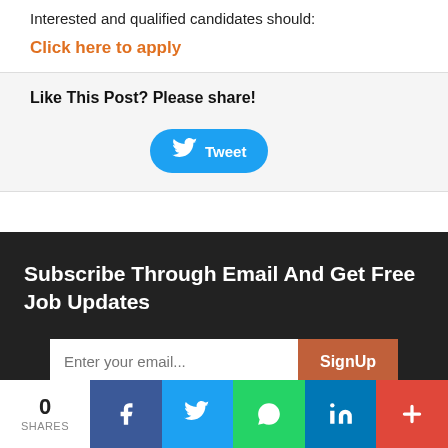Interested and qualified candidates should:
Click here to apply
Like This Post? Please share!
[Figure (infographic): Tweet button with Twitter bird icon]
Subscribe Through Email And Get Free Job Updates
[Figure (infographic): Email subscription form with text input and SignUp button]
0 SHARES | Facebook | Twitter | WhatsApp | LinkedIn | More